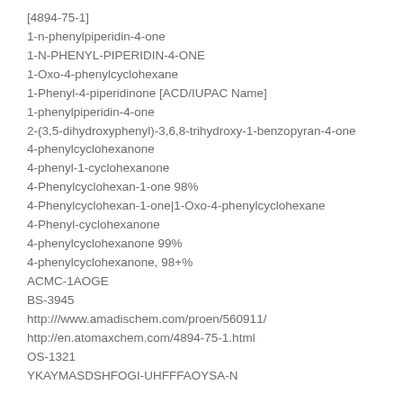[4894-75-1]
1-n-phenylpiperidin-4-one
1-N-PHENYL-PIPERIDIN-4-ONE
1-Oxo-4-phenylcyclohexane
1-Phenyl-4-piperidinone [ACD/IUPAC Name]
1-phenylpiperidin-4-one
2-(3,5-dihydroxyphenyl)-3,6,8-trihydroxy-1-benzopyran-4-one
4-phenylcyclohexanone
4-phenyl-1-cyclohexanone
4-Phenylcyclohexan-1-one 98%
4-Phenylcyclohexan-1-one|1-Oxo-4-phenylcyclohexane
4-Phenyl-cyclohexanone
4-phenylcyclohexanone 99%
4-phenylcyclohexanone, 98+%
ACMC-1AOGE
BS-3945
http:///www.amadischem.com/proen/560911/
http://en.atomaxchem.com/4894-75-1.html
OS-1321
YKAYMASDSHFOGI-UHFFFAOYSA-N